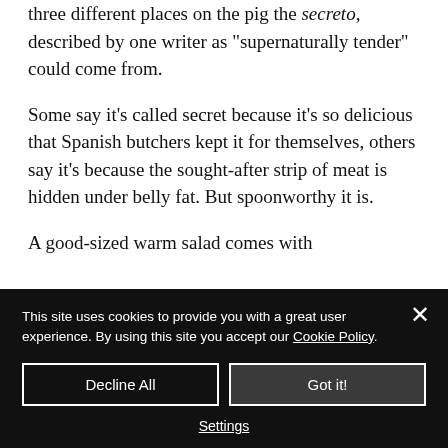three different places on the pig the secreto, described by one writer as "supernaturally tender" could come from.
Some say it's called secret because it's so delicious that Spanish butchers kept it for themselves, others say it's because the sought-after strip of meat is hidden under belly fat. But spoonworthy it is.
A good-sized warm salad comes with
This site uses cookies to provide you with a great user experience. By using this site you accept our Cookie Policy
Decline All
Got it!
Settings